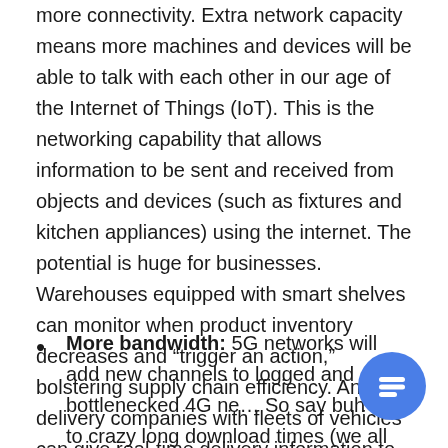more connectivity. Extra network capacity means more machines and devices will be able to talk with each other in our age of the Internet of Things (IoT). This is the networking capability that allows information to be sent and received from objects and devices (such as fixtures and kitchen appliances) using the internet. The potential is huge for businesses. Warehouses equipped with smart shelves can monitor when product inventory decreases and “trigger an action,” bolstering supply chain efficiency. And delivery companies with fleets of vehicles can give real-time delivery information to recipients.
More bandwidth: 5G networks will add new channels to logged and bottlenecked 4G ne… So say buh-bye to crazy long download times (we all loathe that spinning wheel). On the practical